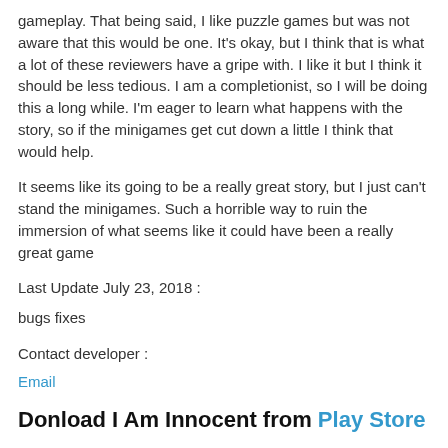gameplay. That being said, I like puzzle games but was not aware that this would be one. It's okay, but I think that is what a lot of these reviewers have a gripe with. I like it but I think it should be less tedious. I am a completionist, so I will be doing this a long while. I'm eager to learn what happens with the story, so if the minigames get cut down a little I think that would help.
It seems like its going to be a really great story, but I just can't stand the minigames. Such a horrible way to ruin the immersion of what seems like it could have been a really great game
Last Update July 23, 2018 :
bugs fixes
Contact developer :
Email
Donload I Am Innocent from Play Store